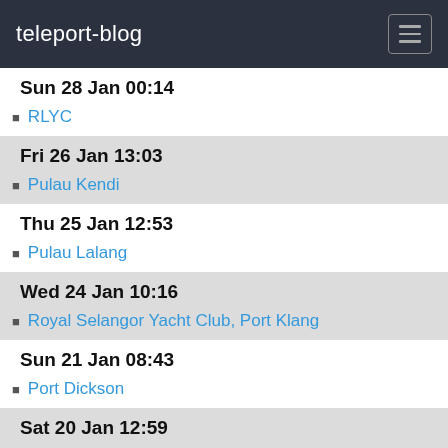teleport-blog
Sun 28 Jan 00:14
RLYC
Fri 26 Jan 13:03
Pulau Kendi
Thu 25 Jan 12:53
Pulau Lalang
Wed 24 Jan 10:16
Royal Selangor Yacht Club, Port Klang
Sun 21 Jan 08:43
Port Dickson
Sat 20 Jan 12:59
Pulau Besar
Fri 19 Jan 09:54
Pulau Pisang
Mon 8 Jan 15:14